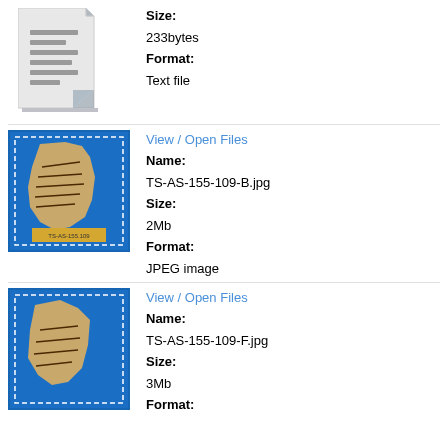[Figure (illustration): Generic text/document file icon in grey]
Size: 233bytes
Format: Text file
View / Open Files
[Figure (photo): Photo of a manuscript fragment on blue background, labelled TS-AS-155-109]
Name: TS-AS-155-109-B.jpg
Size: 2Mb
Format: JPEG image
View / Open Files
[Figure (photo): Photo of another manuscript fragment on blue background]
Name: TS-AS-155-109-F.jpg
Size: 3Mb
Format: